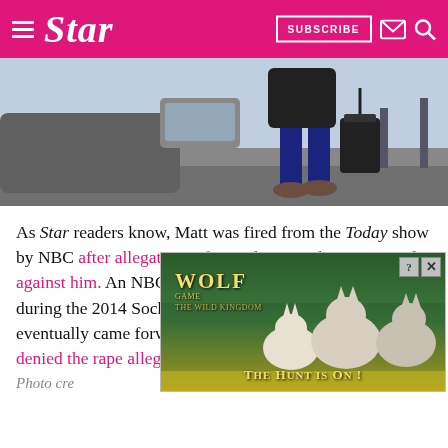Star — SUBSCRIBE
[Figure (photo): Person walking with luggage next to a car, lower body visible, wearing jeans and brown shoes]
As Star readers know, Matt was fired from the Today show by NBC after allegations of sexual misconduct were made against him. An NBC employee accused Matt of raping her during the 2014 Sochi Olympics. Brooke Nevils eventually came forward publicly as the accuser. Matt denied the rape allegations, saying they had an ongoing
Photo cre
[Figure (screenshot): Wolf Game: The Wild Kingdom advertisement showing wolves in a meadow with text THE HUNT IS ON!]